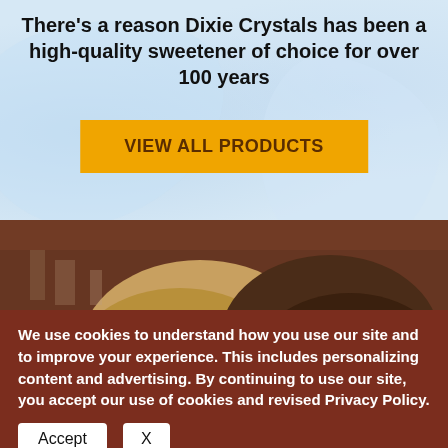There's a reason Dixie Crystals has been a high-quality sweetener of choice for over 100 years
[Figure (screenshot): Light blue background with faint sugar/crystal imagery and a prominent orange call-to-action button labeled VIEW ALL PRODUCTS]
[Figure (photo): Photo of two people (bakers) visible from behind/top, with warm brown kitchen background]
We use cookies to understand how you use our site and to improve your experience. This includes personalizing content and advertising. By continuing to use our site, you accept our use of cookies and revised Privacy Policy.